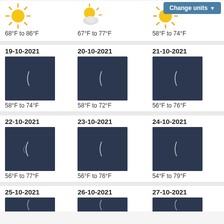[Figure (screenshot): Weather forecast app screenshot showing multiple days with moon/night icons and temperature ranges in Fahrenheit, plus a 'Change units' button at top right.]
68°F to 86°F
67°F to 77°F
58°F to 74°F
19-10-2021
58°F to 74°F
20-10-2021
58°F to 72°F
21-10-2021
56°F to 76°F
22-10-2021
56°F to 77°F
23-10-2021
56°F to 76°F
24-10-2021
54°F to 79°F
25-10-2021
26-10-2021
27-10-2021